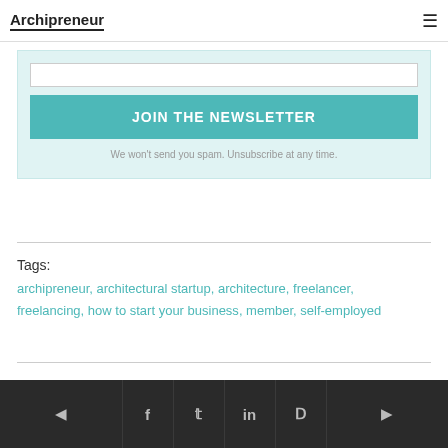Archipreneur
[Figure (screenshot): Newsletter signup box with teal background, input field, JOIN THE NEWSLETTER button, and spam disclaimer text]
Tags:
archipreneur, architectural startup, architecture, freelancer, freelancing, how to start your business, member, self-employed
Navigation footer with back arrow, Facebook, Twitter, LinkedIn, Pinterest icons, and forward arrow